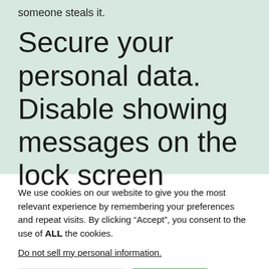someone steals it.
Secure your personal data. Disable showing messages on the lock screen
We use cookies on our website to give you the most relevant experience by remembering your preferences and repeat visits. By clicking “Accept”, you consent to the use of ALL the cookies.
Do not sell my personal information.
Cookie Settings
Accept